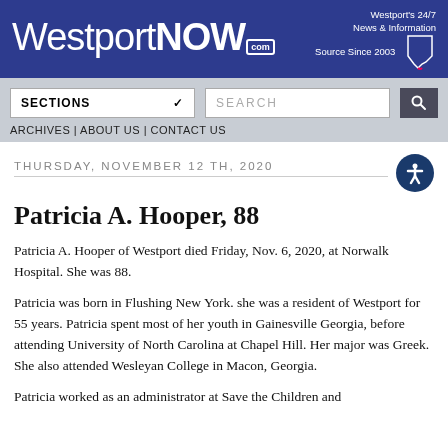[Figure (logo): WestportNOW.com logo on dark blue header banner with tagline 'Westport's 24/7 News & Information Source Since 2003' and Connecticut state outline]
SECTIONS | SEARCH | ARCHIVES | ABOUT US | CONTACT US
THURSDAY, NOVEMBER 12TH, 2020
Patricia A. Hooper, 88
Patricia A. Hooper of Westport died Friday, Nov. 6, 2020, at Norwalk Hospital. She was 88.
Patricia was born in Flushing New York. she was a resident of Westport for 55 years. Patricia spent most of her youth in Gainesville Georgia, before attending University of North Carolina at Chapel Hill. Her major was Greek. She also attended Wesleyan College in Macon, Georgia.
Patricia worked as an administrator at Save the Children and